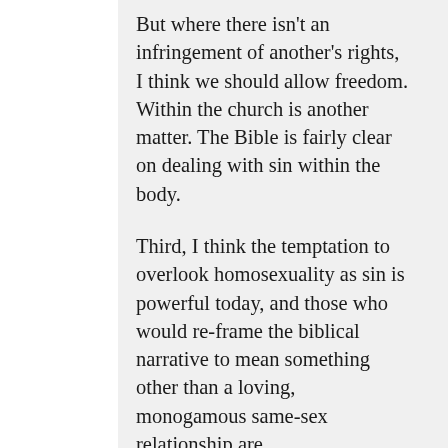But where there isn't an infringement of another's rights, I think we should allow freedom. Within the church is another matter. The Bible is fairly clear on dealing with sin within the body.
Third, I think the temptation to overlook homosexuality as sin is powerful today, and those who would re-frame the biblical narrative to mean something other than a loving, monogamous same-sex relationship are